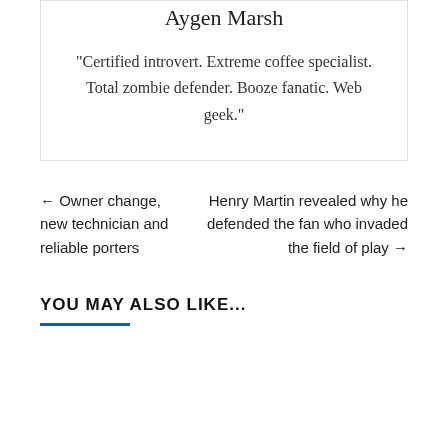Aygen Marsh
"Certified introvert. Extreme coffee specialist. Total zombie defender. Booze fanatic. Web geek."
← Owner change, new technician and reliable porters
Henry Martin revealed why he defended the fan who invaded the field of play →
YOU MAY ALSO LIKE...